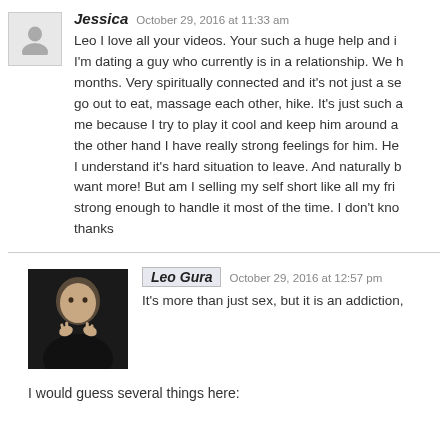Jessica   October 29, 2016 at 11:33 am
Leo I love all your videos. Your such a huge help and i I'm dating a guy who currently is in a relationship. We h months. Very spiritually connected and it's not just a se go out to eat, massage each other, hike. It's just such a me because I try to play it cool and keep him around a the other hand I have really strong feelings for him. He I understand it's hard situation to leave. And naturally b want more! But am I selling my self short like all my fri strong enough to handle it most of the time. I don't kno thanks
Leo Gura   October 29, 2016 at 12:57 pm
It's more than just sex, but it is an addiction,
I would guess several things here: